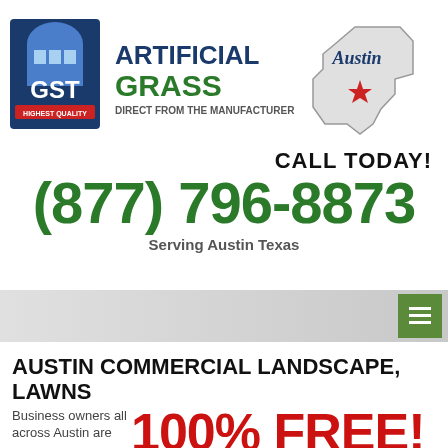[Figure (logo): GST Artificial Grass logo with Austin Texas state outline graphic]
CALL TODAY!
(877) 796-8873
Serving Austin Texas
[Figure (other): Navigation bar with hamburger menu button]
AUSTIN COMMERCIAL LANDSCAPE, LAWNS
Business owners all across Austin are
100% FREE! GET STARTED NOW!